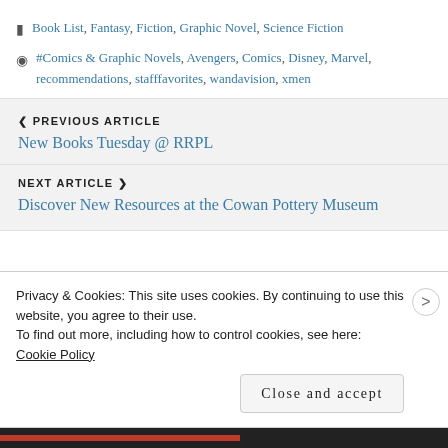Book List, Fantasy, Fiction, Graphic Novel, Science Fiction
#Comics & Graphic Novels, Avengers, Comics, Disney, Marvel, recommendations, stafffavorites, wandavision, xmen
❮ PREVIOUS ARTICLE
New Books Tuesday @ RRPL
NEXT ARTICLE ❯
Discover New Resources at the Cowan Pottery Museum
Privacy & Cookies: This site uses cookies. By continuing to use this website, you agree to their use.
To find out more, including how to control cookies, see here: Cookie Policy
Close and accept